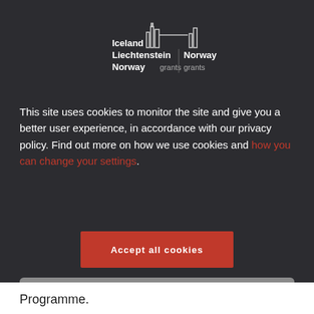[Figure (logo): EEA and Norway Grants logo showing Iceland Liechtenstein Norway grants and Norway grants with city skyline icon]
This site uses cookies to monitor the site and give you a better user experience, in accordance with our privacy policy. Find out more on how we use cookies and how you can change your settings.
Accept all cookies
No thanks, only technically necessary cookies
Programme.